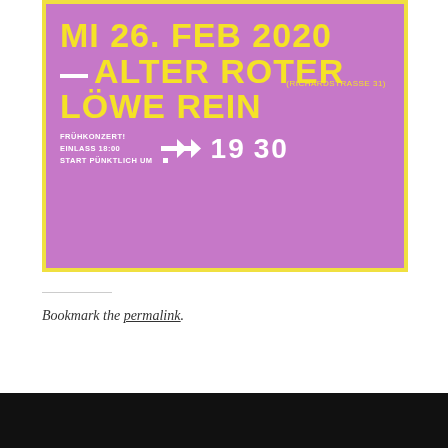[Figure (illustration): Purple event poster with yellow border and yellow bold text. Text reads: MI 26. FEB 2020 — ALTER ROTER (RICHARDSTRASSE 31) LÖWE REIN. Below: FRÜHKONZERT! EINLASS 18:00 START PÜNKTLICH UM 19:30 with double arrow graphic.]
Bookmark the permalink.